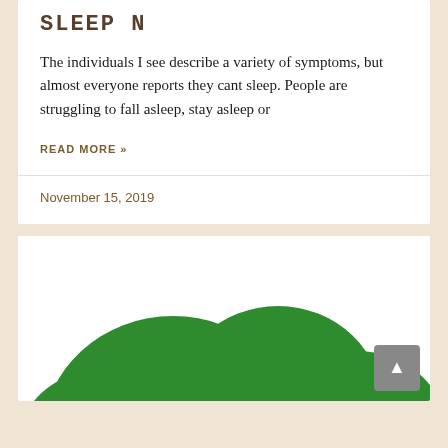SLEEP N
The individuals I see describe a variety of symptoms, but almost everyone reports they cant sleep. People are struggling to fall asleep, stay asleep or
READ MORE »
November 15, 2019
[Figure (illustration): Green blob/cloud shape illustration on white background, partially cropped, with a grey scroll-to-top button in the bottom right corner.]